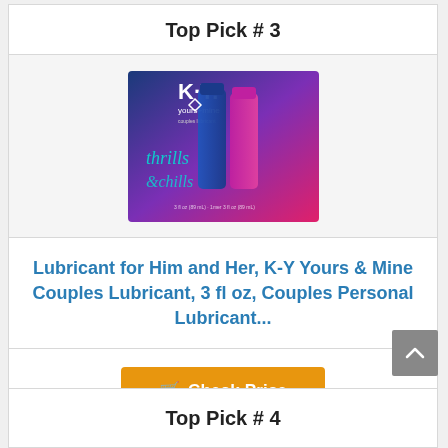Top Pick # 3
[Figure (photo): K-Y Yours+Mine couples lubricant product box with blue and pink gradient background, showing two bottles, text 'thrills & chills']
Lubricant for Him and Her, K-Y Yours & Mine Couples Lubricant, 3 fl oz, Couples Personal Lubricant...
Check Price
Top Pick # 4